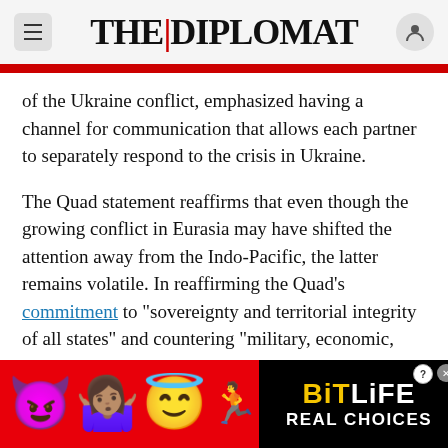THE DIPLOMAT
of the Ukraine conflict, emphasized having a channel for communication that allows each partner to separately respond to the crisis in Ukraine.
The Quad statement reaffirms that even though the growing conflict in Eurasia may have shifted the attention away from the Indo-Pacific, the latter remains volatile. In reaffirming the Quad’s commitment to “sovereignty and territorial integrity of all states” and countering “military, economic, and political coercion,” as well as via the establishment of humanitarian assistance and
[Figure (illustration): Advertisement banner for BitLife game with emoji characters (devil emoji, person shrugging emoji, angel face emoji, sperm emoji) on red background, with BitLife logo and 'REAL CHOICES' text on black background.]